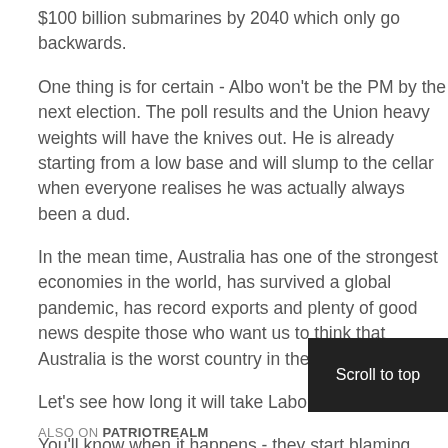$100 billion submarines by 2040 which only go backwards.
One thing is for certain - Albo won’t be the PM by the next election. The poll results and the Union heavy weights will have the knives out. He is already starting from a low base and will slump to the cellar when everyone realises he was actually always been a dud.
In the mean time, Australia has one of the strongest economies in the world, has survived a global pandemic, has record exports and plenty of good news despite those who want us to think that Australia is the worst country in the world.
Let’s see how long it will take Labor to hit the wall.
You’ll know when it happens - they start blaming Scomo and everyone other than themselves for their own failures.
written by unknown
ALSO ON PATRIOTREALM